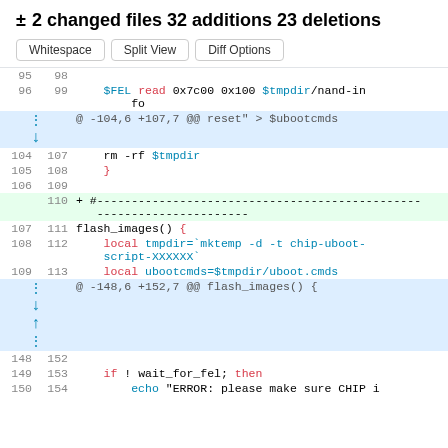± 2 changed files 32 additions 23 deletions
Whitespace  Split View  Diff Options
| old | new | code |
| --- | --- | --- |
| 95 | 98 |  |
| 96 | 99 |     $FEL read 0x7c00 0x100 $tmpdir/nand-info |
|  |  | @ -104,6 +107,7 @@ reset" > $ubootcmds |
| 104 | 107 |     rm -rf $tmpdir |
| 105 | 108 |     } |
| 106 | 109 |  |
|  | 110 | + #-------------------------------------------------- |
| 107 | 111 | flash_images() { |
| 108 | 112 |     local tmpdir=`mktemp -d -t chip-uboot-script-XXXXXX` |
| 109 | 113 |     local ubootcmds=$tmpdir/uboot.cmds |
|  |  | @ -148,6 +152,7 @@ flash_images() { |
| 148 | 152 |  |
| 149 | 153 |     if ! wait_for_fel; then |
| 150 | 154 |     echo "ERROR: please make sure CHIP i |